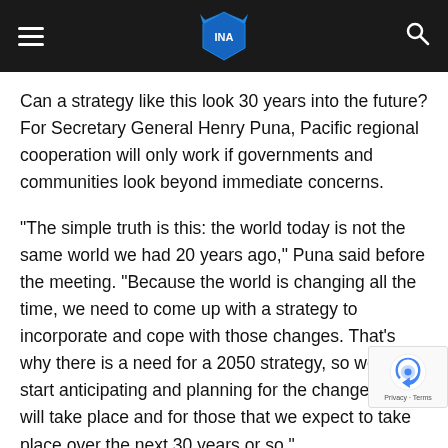INA (logo)
Can a strategy like this look 30 years into the future? For Secretary General Henry Puna, Pacific regional cooperation will only work if governments and communities look beyond immediate concerns.
“The simple truth is this: the world today is not the same world we had 20 years ago,” Puna said before the meeting. “Because the world is changing all the time, we need to come up with a strategy to incorporate and cope with those changes. That’s why there is a need for a 2050 strategy, so we can start anticipating and planning for the changes that will take place and for those that we expect to take place over the next 30 years or so.”
A crucial part of this 2050 strategy will be reviewing the